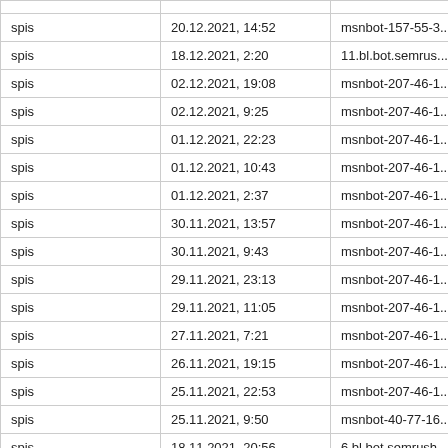|  |  |  |
| --- | --- | --- |
| spis | 20.12.2021, 14:52 | msnbot-157-55-3... |
| spis | 18.12.2021, 2:20 | 11.bl.bot.semrus... |
| spis | 02.12.2021, 19:08 | msnbot-207-46-1... |
| spis | 02.12.2021, 9:25 | msnbot-207-46-1... |
| spis | 01.12.2021, 22:23 | msnbot-207-46-1... |
| spis | 01.12.2021, 10:43 | msnbot-207-46-1... |
| spis | 01.12.2021, 2:37 | msnbot-207-46-1... |
| spis | 30.11.2021, 13:57 | msnbot-207-46-1... |
| spis | 30.11.2021, 9:43 | msnbot-207-46-1... |
| spis | 29.11.2021, 23:13 | msnbot-207-46-1... |
| spis | 29.11.2021, 11:05 | msnbot-207-46-1... |
| spis | 27.11.2021, 7:21 | msnbot-207-46-1... |
| spis | 26.11.2021, 19:15 | msnbot-207-46-1... |
| spis | 25.11.2021, 22:53 | msnbot-207-46-1... |
| spis | 25.11.2021, 9:50 | msnbot-40-77-16... |
| spis | 18.11.2021, 20:56 | 6.bl.bot.semrush... |
| spis | 11.11.2021, 7:52 | msnbot-157-55-3... |